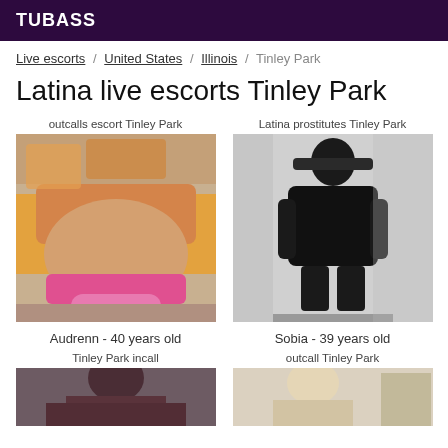TUBASS
Live escorts / United States / Illinois / Tinley Park
Latina live escorts Tinley Park
outcalls escort Tinley Park
[Figure (photo): Photo of a person from behind in a pink bikini bottom and yellow/orange clothing]
Audrenn - 40 years old
Latina prostitutes Tinley Park
[Figure (photo): Black and white photo of a woman in dark clothing posing with hands on hips]
Sobia - 39 years old
Tinley Park incall
[Figure (photo): Photo of a dark-haired woman, cropped]
outcall Tinley Park
[Figure (photo): Photo of an older man, cropped]